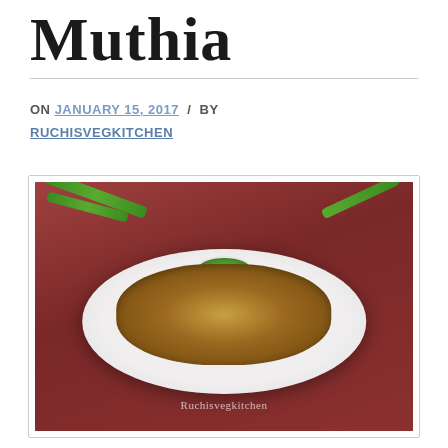MUTHIA
ON JANUARY 15, 2017 / BY RUCHISVEGKITCHEN
[Figure (photo): A white plate piled with muthia (Gujarati steamed/fried snacks coated with sesame seeds), served with green chutney in a small white bowl, with green chilies scattered around, set on a red cloth background. Watermark reads 'Ruchisvegkitchen'.]